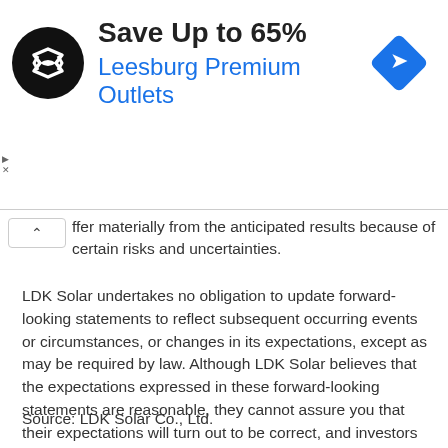[Figure (screenshot): Advertisement banner: black circular logo with double arrow symbol, headline 'Save Up to 65%', subtext 'Leesburg Premium Outlets' in blue, blue diamond arrow icon on right]
ffer materially from the anticipated results because of certain risks and uncertainties.
LDK Solar undertakes no obligation to update forward-looking statements to reflect subsequent occurring events or circumstances, or changes in its expectations, except as may be required by law. Although LDK Solar believes that the expectations expressed in these forward-looking statements are reasonable, they cannot assure you that their expectations will turn out to be correct, and investors are cautioned that actual results may differ materially from the anticipated results.
Source: LDK Solar Co., Ltd.